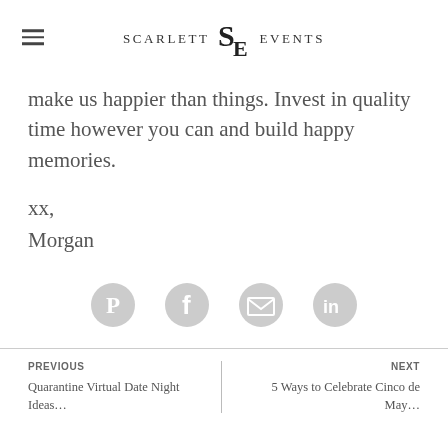SCARLETT SE EVENTS
make us happier than things. Invest in quality time however you can and build happy memories.
xx,
Morgan
[Figure (infographic): Four circular social share icons: Pinterest, Facebook, Email, LinkedIn — all in light gray]
PREVIOUS | Quarantine Virtual Date Night Ideas... | NEXT | 5 Ways to Celebrate Cinco de May...